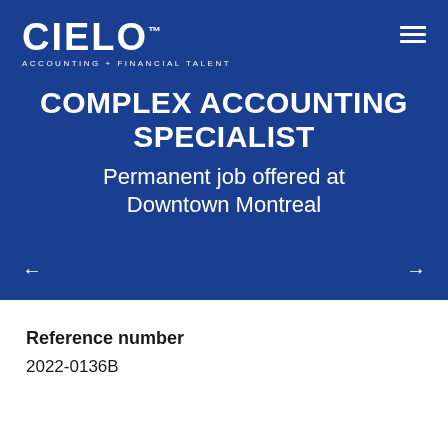[Figure (logo): CIELO logo with tagline ACCOUNTING + FINANCIAL TALENT in white on blue background]
COMPLEX ACCOUNTING SPECIALIST
Permanent job offered at Downtown Montreal
Reference number
2022-0136B